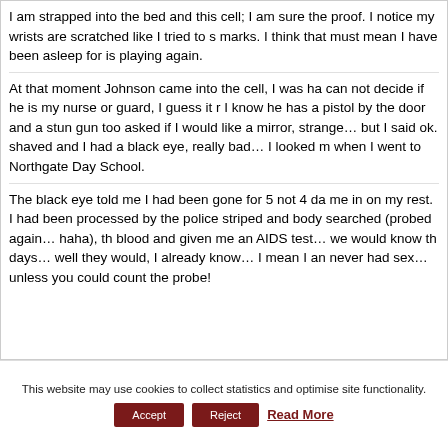I am strapped into the bed and this cell; I am sure the proof. I notice my wrists are scratched like I tried to s marks. I think that must mean I have been asleep for is playing again.
At that moment Johnson came into the cell, I was ha can not decide if he is my nurse or guard, I guess it r I know he has a pistol by the door and a stun gun too asked if I would like a mirror, strange… but I said ok. shaved and I had a black eye, really bad… I looked m when I went to Northgate Day School.
The black eye told me I had been gone for 5 not 4 da me in on my rest. I had been processed by the police striped and body searched (probed again… haha), th blood and given me an AIDS test… we would know th days… well they would, I already know… I mean I an never had sex… unless you could count the probe!
This website may use cookies to collect statistics and optimise site functionality. Accept Reject Read More